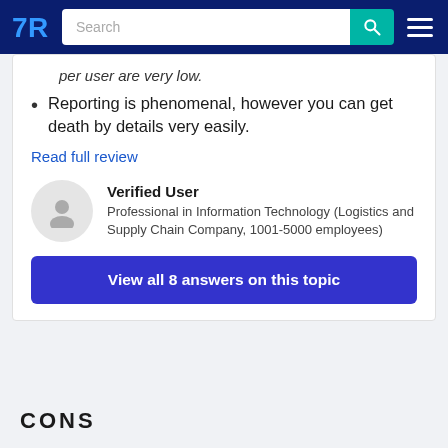TrustRadius navigation bar with logo, search bar, and menu
per user are very low.
Reporting is phenomenal, however you can get death by details very easily.
Read full review
Verified User
Professional in Information Technology (Logistics and Supply Chain Company, 1001-5000 employees)
View all 8 answers on this topic
CONS